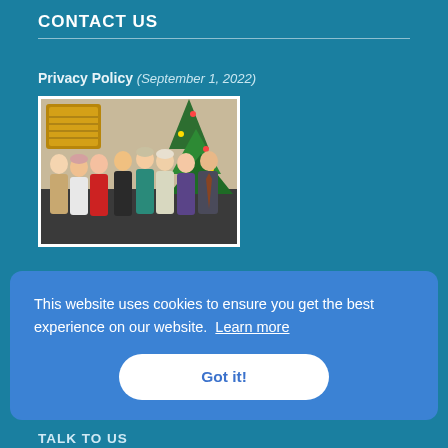CONTACT US
Privacy Policy (September 1, 2022)
[Figure (photo): Group photo of approximately 10 people standing together in front of a Christmas tree, dressed in formal/business attire in various colors including red, white, black, teal, and grey.]
This website uses cookies to ensure you get the best experience on our website. Learn more
Got it!
TALK TO US